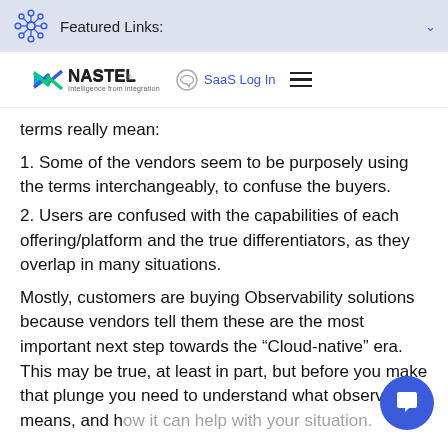Featured Links:
[Figure (logo): Nastel logo with tagline 'Intelligence from integration' and navigation icons]
terms really mean:
1. Some of the vendors seem to be purposely using the terms interchangeably, to confuse the buyers.
2. Users are confused with the capabilities of each offering/platform and the true differentiators, as they overlap in many situations.
Mostly, customers are buying Observability solutions because vendors tell them these are the most important next step towards the “Cloud-native” era. This may be true, at least in part, but before you make that plunge you need to understand what observability means, and how it can help with your situation.